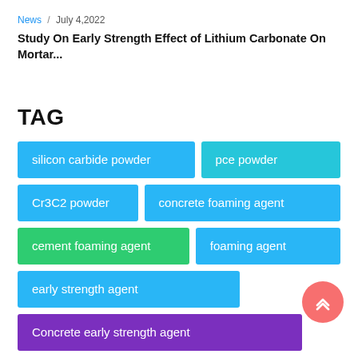News / July 4,2022
Study On Early Strength Effect of Lithium Carbonate On Mortar...
TAG
silicon carbide powder
pce powder
Cr3C2 powder
concrete foaming agent
cement foaming agent
foaming agent
early strength agent
Concrete early strength agent